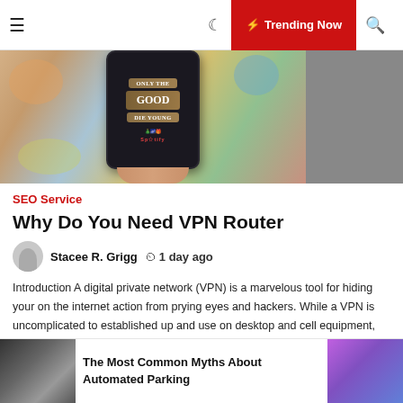☰  ☽  ⚡ Trending Now  🔍
[Figure (photo): Person holding a smartphone with colorful artistic wallpaper showing text 'Only The Good Die Young']
SEO Service
Why Do You Need VPN Router
Stacee R. Grigg   🕐 1 day ago
Introduction A digital private network (VPN) is a marvelous tool for hiding your on the internet action from prying eyes and hackers. While a VPN is uncomplicated to established up and use on desktop and cell equipment, putting in it right on your router boosts your on the web protection. [...]
The Most Common Myths About Automated Parking